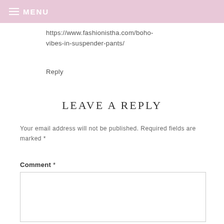MENU
https://www.fashionistha.com/boho-vibes-in-suspender-pants/
Reply
LEAVE A REPLY
Your email address will not be published. Required fields are marked *
Comment *